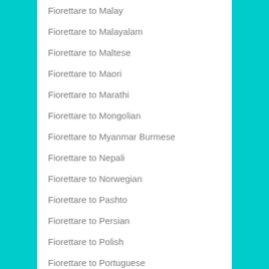Fiorettare to Malay
Fiorettare to Malayalam
Fiorettare to Maltese
Fiorettare to Maori
Fiorettare to Marathi
Fiorettare to Mongolian
Fiorettare to Myanmar Burmese
Fiorettare to Nepali
Fiorettare to Norwegian
Fiorettare to Pashto
Fiorettare to Persian
Fiorettare to Polish
Fiorettare to Portuguese